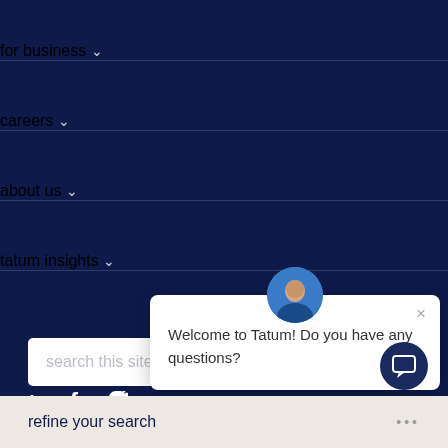for business
careers
about us
tatum insights
search this site
in f (twitter icon)
terms & conditions
Welcome to Tatum! Do you have any questions?
refine your search ...